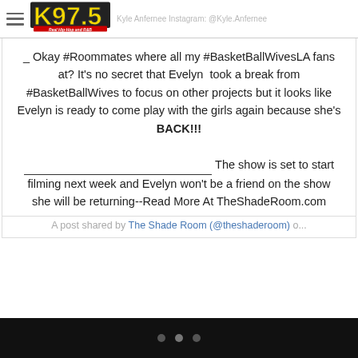K97.5 Real Hip-Hop and R&B — Kyle Anfernee Instagram: @Kyle.Anfernee
_ Okay #Roommates where all my #BasketBallWivesLA fans at? It's no secret that Evelyn  took a break from #BasketBallWives to focus on other projects but it looks like Evelyn is ready to come play with the girls again because she's BACK!!! ____________________________________________ The show is set to start filming next week and Evelyn won't be a friend on the show she will be returning--Read More At TheShadeRoom.com
A post shared by The Shade Room (@theshaderoom) o...